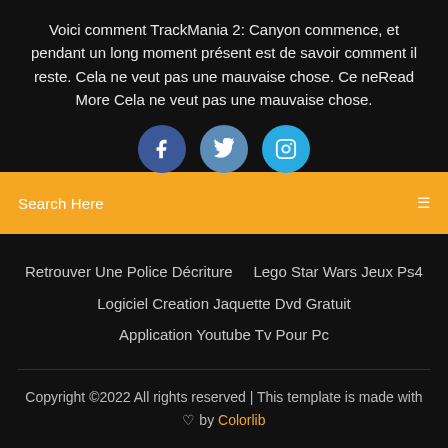Voici comment TrackMania 2: Canyon commence, et pendant un long moment présent est de savoir comment il reste. Cela ne veut pas une mauvaise chose. Ce neRead More Cela ne veut pas une mauvaise chose.
[Figure (illustration): Three social media icon circles: Facebook (dark blue), Twitter (medium blue), Instagram (light blue) with respective logos in white]
Search Here
Retrouver Une Police Décriture    Lego Star Wars Jeux Ps4
Logiciel Creation Jaquette Dvd Gratuit
Application Youtube Tv Pour Pc
Copyright ©2022 All rights reserved | This template is made with ♡ by Colorlib